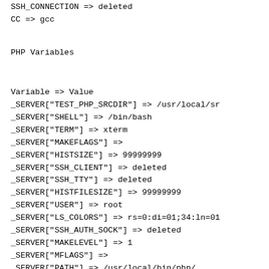SSH_CONNECTION => deleted
CC => gcc
PHP Variables
Variable => Value
_SERVER["TEST_PHP_SRCDIR"] => /usr/local/sr
_SERVER["SHELL"] => /bin/bash
_SERVER["TERM"] => xterm
_SERVER["MAKEFLAGS"] =>
_SERVER["HISTSIZE"] => 99999999
_SERVER["SSH_CLIENT"] => deleted
_SERVER["SSH_TTY"] => deleted
_SERVER["HISTFILESIZE"] => 99999999
_SERVER["USER"] => root
_SERVER["LS_COLORS"] => rs=0:di=01;34:ln=01
_SERVER["SSH_AUTH_SOCK"] => deleted
_SERVER["MAKELEVEL"] => 1
_SERVER["MFLAGS"] =>
_SERVER["PATH"] => /usr/local/bin/php/...